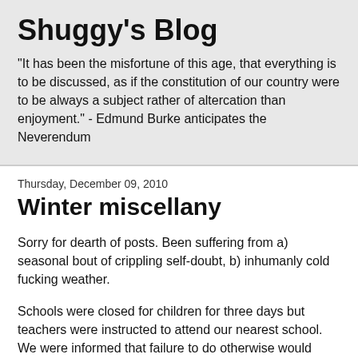Shuggy's Blog
"It has been the misfortune of this age, that everything is to be discussed, as if the constitution of our country were to be always a subject rather of altercation than enjoyment." - Edmund Burke anticipates the Neverendum
Thursday, December 09, 2010
Winter miscellany
Sorry for dearth of posts. Been suffering from a) seasonal bout of crippling self-doubt, b) inhumanly cold fucking weather.
Schools were closed for children for three days but teachers were instructed to attend our nearest school. We were informed that failure to do otherwise would result in our pay being docked. Being unable to absorb any further loss of income, I attended our local primary school. The one with no